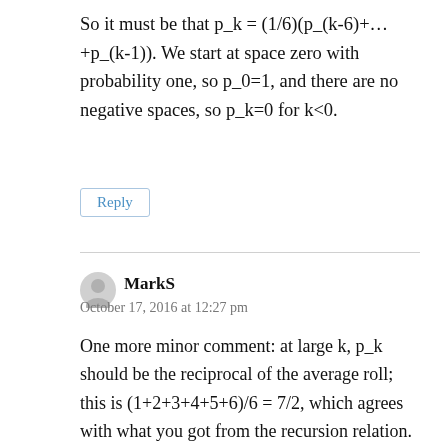So it must be that p_k = (1/6)(p_(k-6)+...+p_(k-1)). We start at space zero with probability one, so p_0=1, and there are no negative spaces, so p_k=0 for k<0.
Reply
MarkS
October 17, 2016 at 12:27 pm
One more minor comment: at large k, p_k should be the reciprocal of the average roll; this is (1+2+3+4+5+6)/6 = 7/2, which agrees with what you got from the recursion relation.